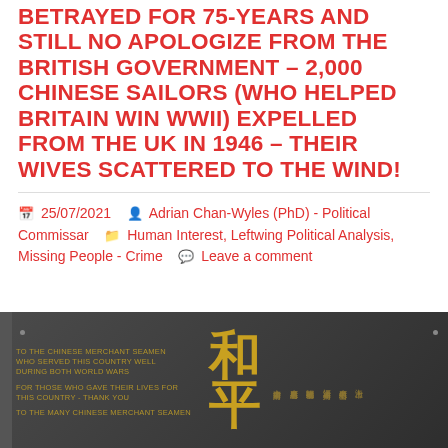BETRAYED FOR 75-YEARS AND STILL NO APOLOGIZE FROM THE BRITISH GOVERNMENT – 2,000 CHINESE SAILORS (WHO HELPED BRITAIN WIN WWII) EXPELLED FROM THE UK IN 1946 – THEIR WIVES SCATTERED TO THE WIND!
25/07/2021  Adrian Chan-Wyles (PhD) - Political Commissar  Human Interest, Leftwing Political Analysis, Missing People - Crime  Leave a comment
[Figure (photo): A dark memorial plaque with gold text and Chinese characters. Left side reads: 'TO THE CHINESE MERCHANT SEAMEN WHO SERVED THIS COUNTRY WELL DURING BOTH WORLD WARS. FOR THOSE WHO GAVE THEIR LIVES FOR THIS COUNTRY - THANK YOU. TO THE MANY CHINESE MERCHANT SEAMEN...' Center shows large gold Chinese characters 和平. Right side shows columns of Chinese characters (names).]